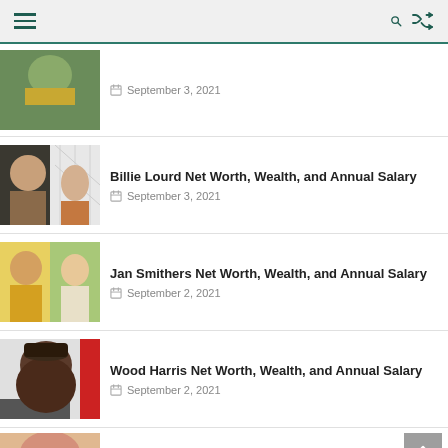Navigation bar with menu, search, and shuffle icons
September 3, 2021
Billie Lourd Net Worth, Wealth, and Annual Salary — September 3, 2021
Jan Smithers Net Worth, Wealth, and Annual Salary — September 2, 2021
Wood Harris Net Worth, Wealth, and Annual Salary — September 2, 2021
Angie Dickinson Net Worth, Wealth, and Annual Salary